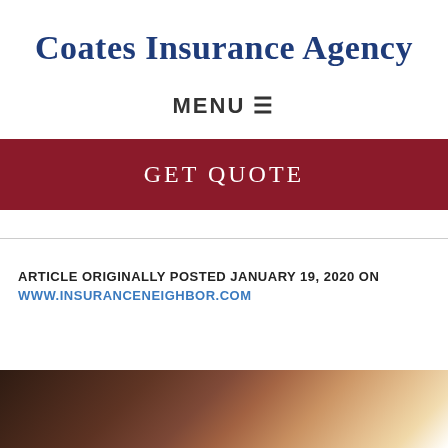Coates Insurance Agency
MENU ≡
GET QUOTE
ARTICLE ORIGINALLY POSTED JANUARY 19, 2020 ON
WWW.INSURANCENEIGHBOR.COM
[Figure (photo): Partial photo of a person in a car, visible at the bottom of the page, showing dark interior with bright light on the right side]